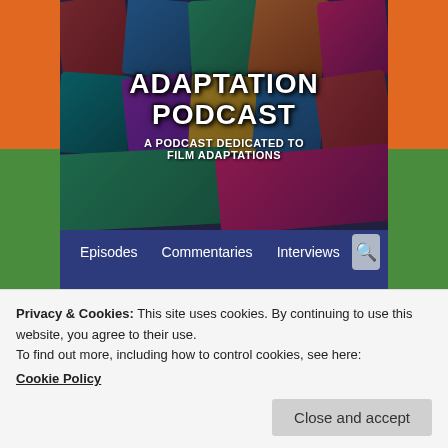[Figure (screenshot): Adaptation Podcast website banner with collage of movie poster tiles in the background and bold white text reading ADAPTATION PODCAST and subtitle A PODCAST DEDICATED TO FILM ADAPTATIONS]
Episodes   Commentaries   Interviews   Vlogs   About Us
CATEGORY ARCHIVES: POST
Privacy & Cookies: This site uses cookies. By continuing to use this website, you agree to their use.
To find out more, including how to control cookies, see here:
Cookie Policy
Close and accept